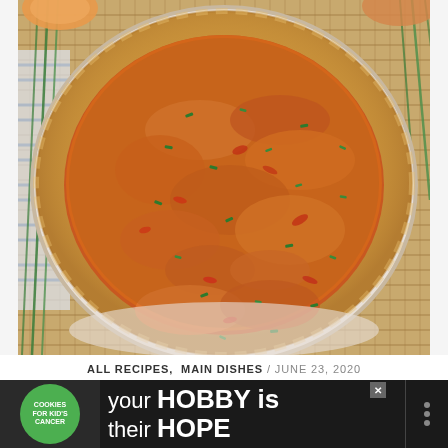[Figure (photo): Overhead/top-down photo of a baked quiche in a white ceramic pie dish. The quiche has a golden-brown pastry crust and a filling topped with melted orange-red cheese, herbs (dried and fresh green chives scattered on top), and red pepper pieces. The dish sits on a woven rattan/straw placemat with a blue and white striped cloth napkin visible on the left and fresh chive stalks. A few eggs are partially visible in the top background.]
ALL RECIPES, MAIN DISHES / JUNE 23, 2020
[Figure (screenshot): Advertisement banner with dark background. On the left: green circular logo reading 'cookies for kid's cancer' with hands holding a heart-shaped cookie. Center text reads 'your HOBBY is their HOPE' in large white bold font. An X close button is visible top right of the ad. On the far right: a dark menu icon with dots.]